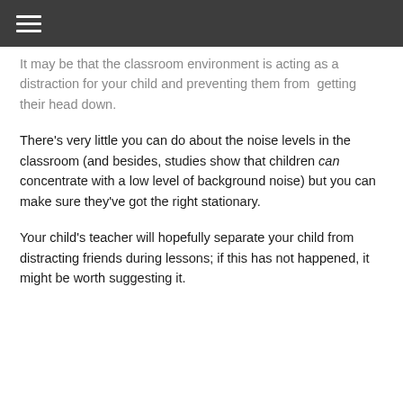It may be that the classroom environment is acting as a distraction for your child and preventing them from getting their head down.
There's very little you can do about the noise levels in the classroom (and besides, studies show that children can concentrate with a low level of background noise) but you can make sure they've got the right stationary.
Your child's teacher will hopefully separate your child from distracting friends during lessons; if this has not happened, it might be worth suggesting it.